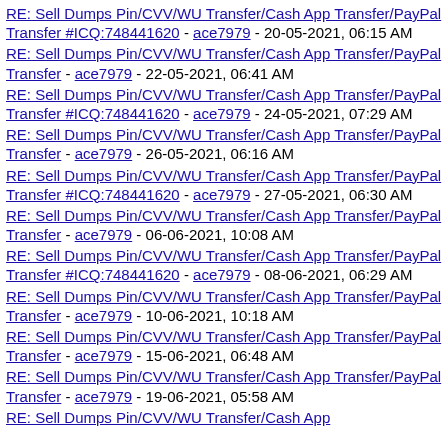RE: Sell Dumps Pin/CVV/WU Transfer/Cash App Transfer/PayPal Transfer #ICQ:748441620 - ace7979 - 20-05-2021, 06:15 AM
RE: Sell Dumps Pin/CVV/WU Transfer/Cash App Transfer/PayPal Transfer - ace7979 - 22-05-2021, 06:41 AM
RE: Sell Dumps Pin/CVV/WU Transfer/Cash App Transfer/PayPal Transfer #ICQ:748441620 - ace7979 - 24-05-2021, 07:29 AM
RE: Sell Dumps Pin/CVV/WU Transfer/Cash App Transfer/PayPal Transfer - ace7979 - 26-05-2021, 06:16 AM
RE: Sell Dumps Pin/CVV/WU Transfer/Cash App Transfer/PayPal Transfer #ICQ:748441620 - ace7979 - 27-05-2021, 06:30 AM
RE: Sell Dumps Pin/CVV/WU Transfer/Cash App Transfer/PayPal Transfer - ace7979 - 06-06-2021, 10:08 AM
RE: Sell Dumps Pin/CVV/WU Transfer/Cash App Transfer/PayPal Transfer #ICQ:748441620 - ace7979 - 08-06-2021, 06:29 AM
RE: Sell Dumps Pin/CVV/WU Transfer/Cash App Transfer/PayPal Transfer - ace7979 - 10-06-2021, 10:18 AM
RE: Sell Dumps Pin/CVV/WU Transfer/Cash App Transfer/PayPal Transfer - ace7979 - 15-06-2021, 06:48 AM
RE: Sell Dumps Pin/CVV/WU Transfer/Cash App Transfer/PayPal Transfer - ace7979 - 19-06-2021, 05:58 AM
RE: Sell Dumps Pin/CVV/WU Transfer/Cash App Transfer/PayPal Transfer